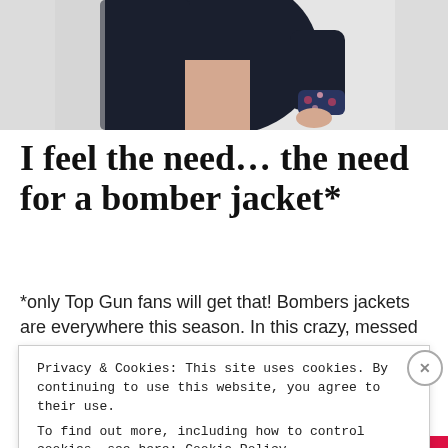[Figure (photo): Partial photo of a person wearing a dark navy bomber-style jacket with floral print cuffs, light background, cropped to show torso and hands.]
I feel the need… the need for a bomber jacket*
*only Top Gun fans will get that! Bombers jackets are everywhere this season. In this crazy, messed
Privacy & Cookies: This site uses cookies. By continuing to use this website, you agree to their use.
To find out more, including how to control cookies, see here: Cookie Policy
Close and accept